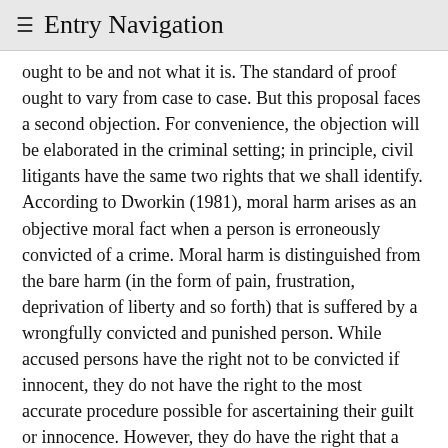≡ Entry Navigation
ought to be and not what it is. The standard of proof ought to vary from case to case. But this proposal faces a second objection. For convenience, the objection will be elaborated in the criminal setting; in principle, civil litigants have the same two rights that we shall identify. According to Dworkin (1981), moral harm arises as an objective moral fact when a person is erroneously convicted of a crime. Moral harm is distinguished from the bare harm (in the form of pain, frustration, deprivation of liberty and so forth) that is suffered by a wrongfully convicted and punished person. While accused persons have the right not to be convicted if innocent, they do not have the right to the most accurate procedure possible for ascertaining their guilt or innocence. However, they do have the right that a certain weight or importance be attached to the risk of moral harm in the design of procedural and evidential rules that affect the level of accuracy. Accused persons have the further right to a consistent weighting of the importance of moral harm and this further right stems from their right to equal…